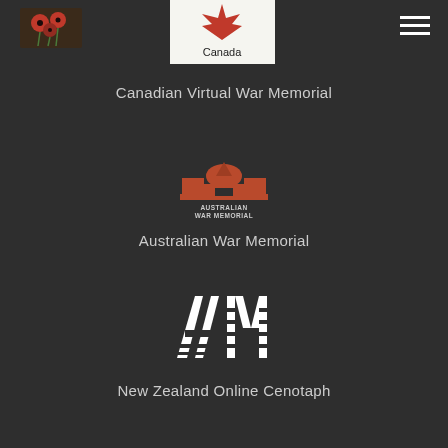[Figure (logo): Poppy logo top-left]
[Figure (logo): Canada government logo with maple leaf and 'Canada' wordmark on white background]
[Figure (logo): Hamburger menu icon top-right]
Canadian Virtual War Memorial
[Figure (logo): Australian War Memorial logo with red/brown building silhouette and text 'AUSTRALIAN WAR MEMORIAL']
Australian War Memorial
[Figure (logo): AM logo in white block letters on dark background (Auckland Museum / NZ Cenotaph)]
New Zealand Online Cenotaph